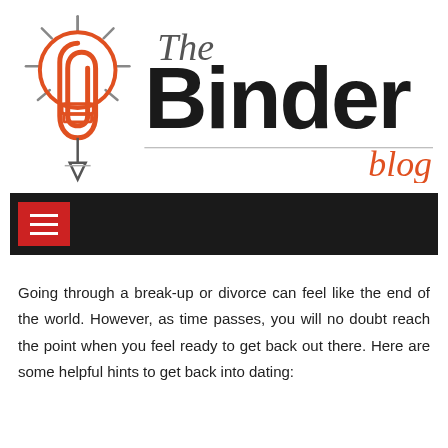[Figure (logo): The Binder Blog logo: a lightbulb with rays, a red paper clip, a pencil point below, and the text 'The Binder' in bold black with 'blog' in orange-red italic]
[Figure (other): Black navigation bar with a red hamburger menu button containing three white horizontal lines]
Going through a break-up or divorce can feel like the end of the world. However, as time passes, you will no doubt reach the point when you feel ready to get back out there. Here are some helpful hints to get back into dating: